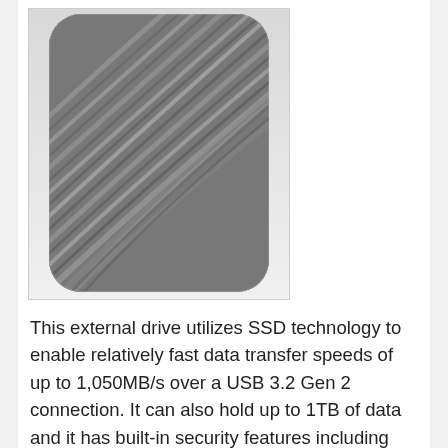[Figure (photo): Close-up photo of a gray portable SSD external drive showing a ridged/grooved metal surface with curved parallel lines forming a wave pattern, on a white background.]
This external drive utilizes SSD technology to enable relatively fast data transfer speeds of up to 1,050MB/s over a USB 3.2 Gen 2 connection. It can also hold up to 1TB of data and it has built-in security features including the ability to set a password on the drive and 256-bit AES hardware encryption. The drive also has a durable metal casing...